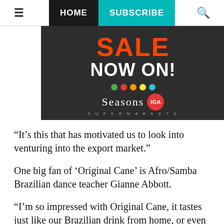≡  HOME  SUBSCRIBE  🔍
[Figure (photo): Seasons IGA Supermarkets advertisement banner with dark background showing 'SALE NOW ON!' text in orange and white, with colored dots and the Seasons IGA logo.]
“It’s this that has motivated us to look into venturing into the export market.”
One big fan of ‘Original Cane’ is Afro/Samba Brazilian dance teacher Gianne Abbott.
“I’m so impressed with Original Cane, it tastes just like our Brazilian drink from home, or even better, I